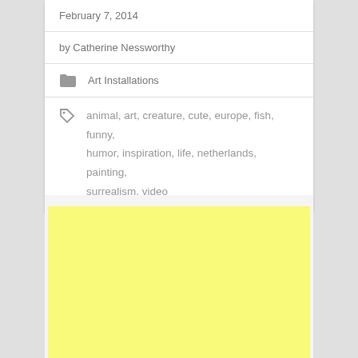February 7, 2014
by Catherine Nessworthy
Art Installations
animal, art, creature, cute, europe, fish, funny, humor, inspiration, life, netherlands, painting, surrealism, video
[Figure (other): Yellow advertisement block placeholder]